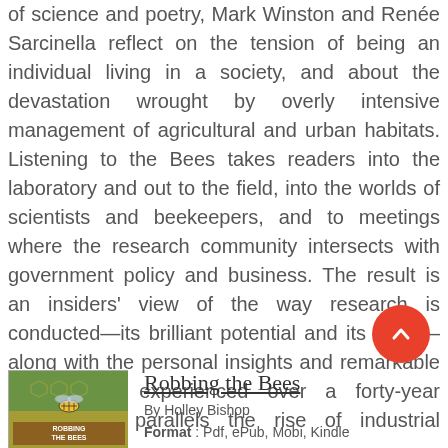of science and poetry, Mark Winston and Renée Sarcinella reflect on the tension of being an individual living in a society, and about the devastation wrought by overly intensive management of agricultural and urban habitats. Listening to the Bees takes readers into the laboratory and out to the field, into the worlds of scientists and beekeepers, and to meetings where the research community intersects with government policy and business. The result is an insiders' view of the way research is conducted—its brilliant potential and its flaws—along with the personal insights and remarkable personalities experienced over a forty-year career that parallels the rise of industrial agriculture.
[Figure (illustration): Orange circular scroll-to-top button with upward arrow]
[Figure (illustration): Book cover of Robbing the Bees by Holley Bishop, showing a bee and honeycomb imagery]
Robbing the Bees
By Holley Bishop
Format : Pdf, ePub, Mobi, Kindle